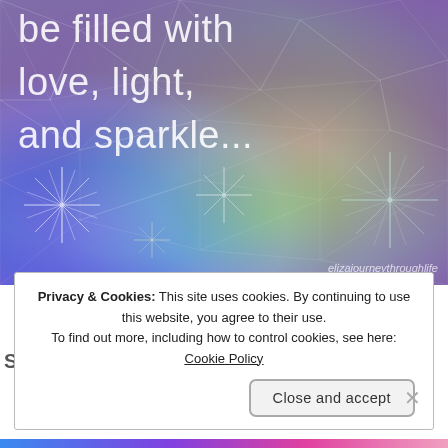[Figure (illustration): Colorful rainbow polygon/starburst background image with sparkle light effects in red, orange, yellow, green, teal, blue, purple. White text overlay reads 'be filled with love, light, and sparkle...' with watermark 'elizajourneythroughlife' at bottom right.]
be filled with love, light, and sparkle...
elizajourneythroughlife
Privacy & Cookies: This site uses cookies. By continuing to use this website, you agree to their use.
To find out more, including how to control cookies, see here: Cookie Policy